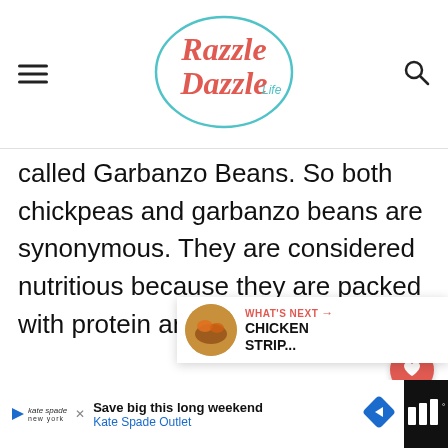Razzle Dazzle Life
called Garbanzo Beans. So both chickpeas and garbanzo beans are synonymous. They are considered nutritious because they are packed with protein and fiber.
[Figure (infographic): Heart/save button (red circle with heart icon) and share button (white circle with share icon)]
[Figure (infographic): What's Next widget showing CHICKEN STRIP... with food thumbnail]
[Figure (infographic): Advertisement bar: Save big this long weekend - Kate Spade Outlet]